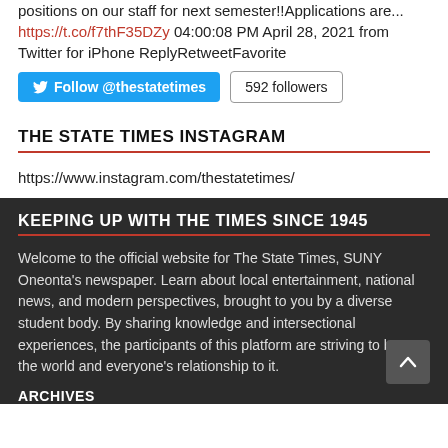positions on our staff for next semester!!Applications are... https://t.co/f7thF35DZy 04:00:08 PM April 28, 2021 from Twitter for iPhone ReplyRetweetFavorite
[Figure (screenshot): Twitter Follow @thestatetimes button and 592 followers button]
THE STATE TIMES INSTAGRAM
https://www.instagram.com/thestatetimes/
KEEPING UP WITH THE TIMES SINCE 1945
Welcome to the official website for The State Times, SUNY Oneonta's newspaper. Learn about local entertainment, national news, and modern perspectives, brought to you by a diverse student body. By sharing knowledge and intersectional experiences, the participants of this platform are striving to better the world and everyone's relationship to it.
ARCHIVES